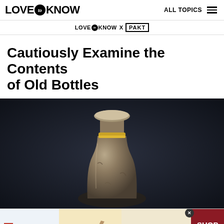LOVE to KNOW   ALL TOPICS
LOVE to KNOW X PAKT
Cautiously Examine the Contents of Old Bottles
[Figure (photo): An antique glass bottle with a round stopper, set against a dark background. The bottle is aged and weathered, with a cylindrical body and decorative collar near the neck.]
[Figure (infographic): ShoeMall advertisement banner showing sandals with text SANDALS and SHOP NOW button]